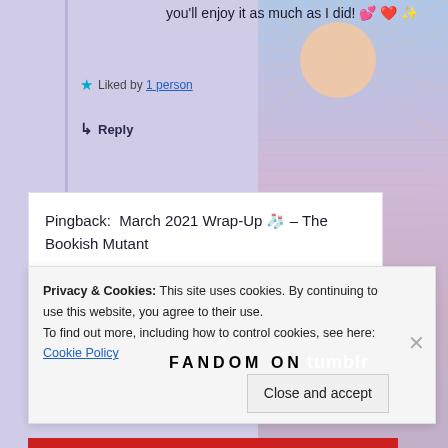you'll enjoy it as much as I did! 💕 ❤️ ✨
★ Liked by 1 person
↳ Reply
Pingback:  March 2021 Wrap-Up 🧦 – The Bookish Mutant
[Figure (screenshot): Fandom on Tumblr banner with orange to purple gradient background and decorative elements]
Privacy & Cookies: This site uses cookies. By continuing to use this website, you agree to their use.
To find out more, including how to control cookies, see here: Cookie Policy
Close and accept